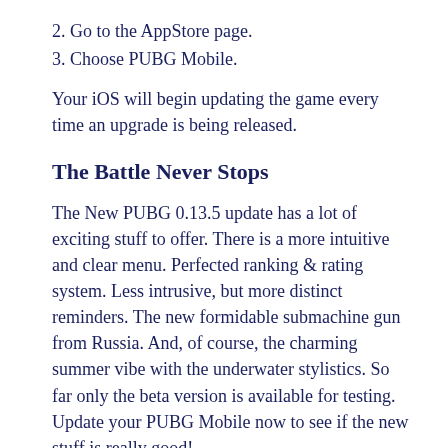2. Go to the AppStore page.
3. Choose PUBG Mobile.
Your iOS will begin updating the game every time an upgrade is being released.
The Battle Never Stops
The New PUBG 0.13.5 update has a lot of exciting stuff to offer. There is a more intuitive and clear menu. Perfected ranking & rating system. Less intrusive, but more distinct reminders. The new formidable submachine gun from Russia. And, of course, the charming summer vibe with the underwater stylistics. So far only the beta version is available for testing. Update your PUBG Mobile now to see if the new stuff is really good!
What do you think about the fresh PUBG update? Do you think they could add more weapon models? Is there